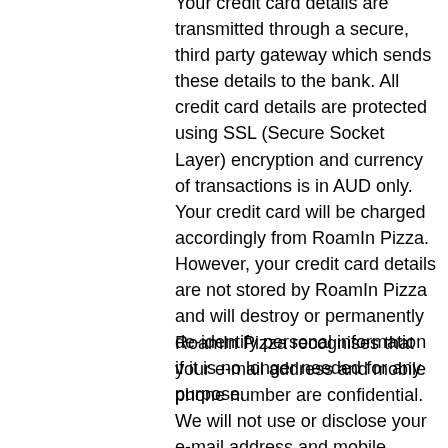Your credit card details are transmitted through a secure, third party gateway which sends these details to the bank. All credit card details are protected using SSL (Secure Socket Layer) encryption and currency of transactions is in AUD only. Your credit card will be charged accordingly from RoamIn Pizza. However, your credit card details are not stored by RoamIn Pizza and will destroy or permanently de-identify personal information if it is no longer needed for any purpose.
RoamIn Pizza recognises that your e-mail address and mobile phone number are confidential. We will not use or disclose your e-mail address and mobile phone number to any third party without your explicit consent, nor will you get any